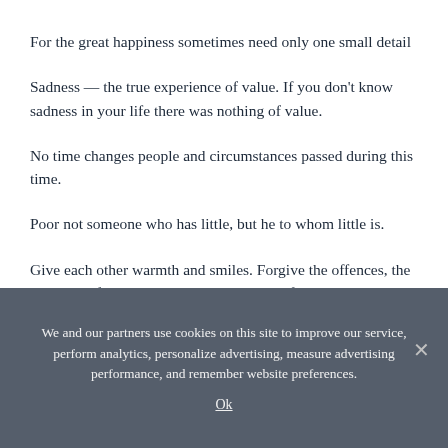For the great happiness sometimes need only one small detail
Sadness — the true experience of value. If you don't know sadness in your life there was nothing of value.
No time changes people and circumstances passed during this time.
Poor not someone who has little, but he to whom little is.
Give each other warmth and smiles. Forgive the offences, the mistakes of others. The smile is all-powerful and
We and our partners use cookies on this site to improve our service, perform analytics, personalize advertising, measure advertising performance, and remember website preferences.
Ok